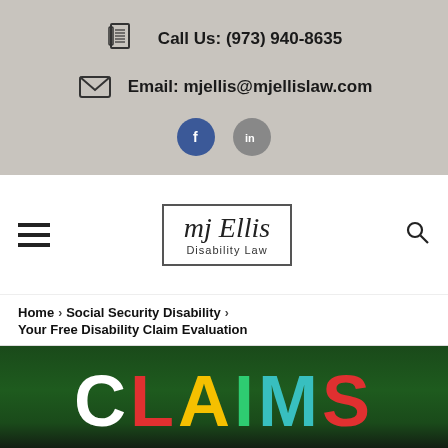Call Us: (973) 940-8635 | Email: mjellis@mjellislaw.com
[Figure (logo): MJ Ellis Disability Law logo with script signature in a rectangular border]
Home > Social Security Disability > Your Free Disability Claim Evaluation
[Figure (photo): Dark green chalkboard background with CLAIMS written in large colorful letters]
LIVE CHAT